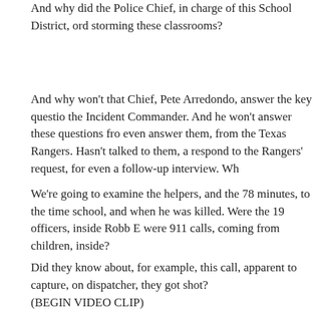And why did the Police Chief, in charge of this School District, ord storming these classrooms?
And why won't that Chief, Pete Arredondo, answer the key questio the Incident Commander. And he won't answer these questions fro even answer them, from the Texas Rangers. Hasn't talked to them, respond to the Rangers' request, for even a follow-up interview. Wh
We're going to examine the helpers, and the 78 minutes, to the time school, and when he was killed. Were the 19 officers, inside Robb E were 911 calls, coming from children, inside?
Did they know about, for example, this call, apparent to capture, on dispatcher, they got shot?
(BEGIN VIDEO CLIP)